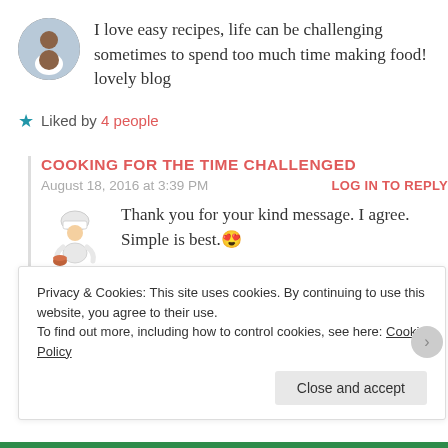I love easy recipes, life can be challenging sometimes to spend too much time making food! lovely blog
★ Liked by 4 people
COOKING FOR THE TIME CHALLENGED
August 18, 2016 at 3:39 PM
LOG IN TO REPLY
Thank you for your kind message. I agree. Simple is best. 😍
Privacy & Cookies: This site uses cookies. By continuing to use this website, you agree to their use.
To find out more, including how to control cookies, see here: Cookie Policy